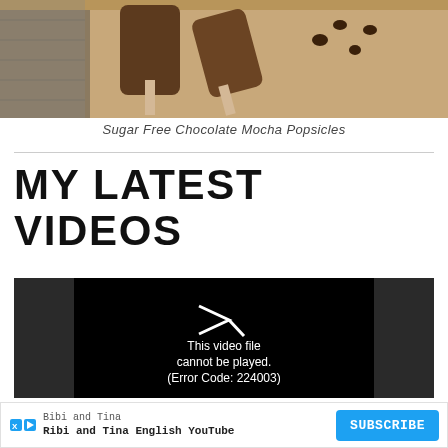[Figure (photo): Photo of chocolate mocha popsicles on a wooden surface with chocolate chips]
Sugar Free Chocolate Mocha Popsicles
MY LATEST VIDEOS
[Figure (screenshot): Video player showing error: This video file cannot be played. (Error Code: 224003)]
Bibi and Tina
Ribi and Tina English YouTube